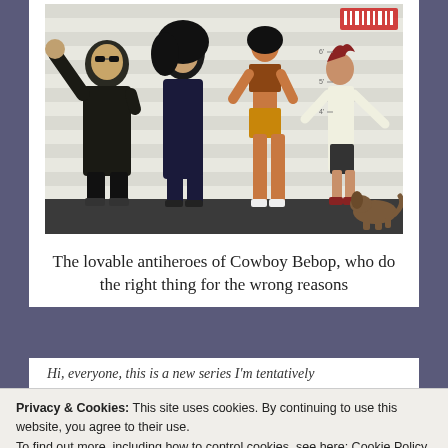[Figure (illustration): Anime illustration of four characters from Cowboy Bebop standing in a police lineup pose against a striped background, with a dog in the lower right corner. Characters include a large muscular man, a tall woman, a tall woman in revealing outfit, and a younger character. A barcode/logo appears in the top right corner.]
The lovable antiheroes of Cowboy Bebop, who do the right thing for the wrong reasons
Hi, everyone, this is a new series I'm tentatively
Privacy & Cookies: This site uses cookies. By continuing to use this website, you agree to their use.
To find out more, including how to control cookies, see here: Cookie Policy
Close and accept
your feedback on whether you like this entry and